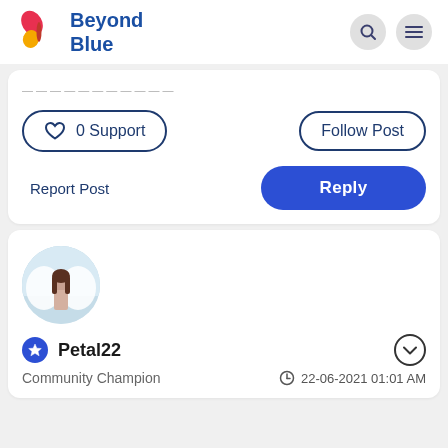[Figure (logo): Beyond Blue logo with butterfly icon in pink, red, and yellow, and text 'Beyond Blue' in dark blue]
0 Support
Follow Post
Report Post
Reply
[Figure (photo): Circular avatar showing a woman with angel wings against a light background]
Petal22
Community Champion
22-06-2021 01:01 AM